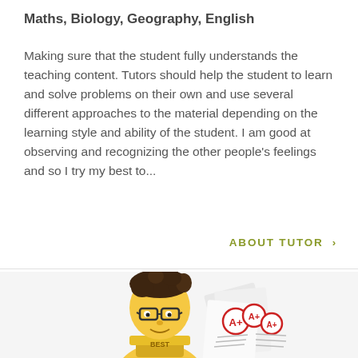Maths, Biology, Geography, English
Making sure that the student fully understands the teaching content. Tutors should help the student to learn and solve problems on their own and use several different approaches to the material depending on the learning style and ability of the student. I am good at observing and recognizing the other people's feelings and so I try my best to...
ABOUT TUTOR >
[Figure (illustration): Cartoon illustration of a studious boy with glasses and dark hair holding a gold trophy labeled BEST, surrounded by papers with A+ grades]